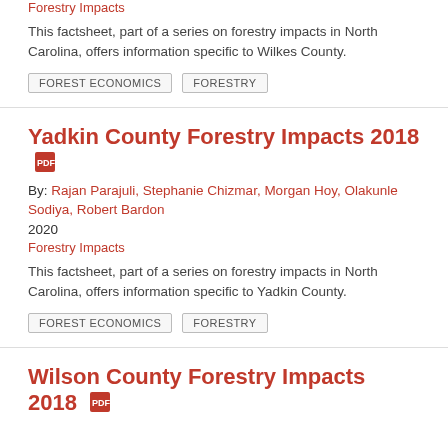Forestry Impacts
This factsheet, part of a series on forestry impacts in North Carolina, offers information specific to Wilkes County.
FOREST ECONOMICS
FORESTRY
Yadkin County Forestry Impacts 2018
By: Rajan Parajuli, Stephanie Chizmar, Morgan Hoy, Olakunle Sodiya, Robert Bardon
2020
Forestry Impacts
This factsheet, part of a series on forestry impacts in North Carolina, offers information specific to Yadkin County.
FOREST ECONOMICS
FORESTRY
Wilson County Forestry Impacts 2018